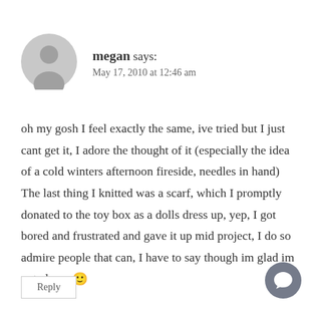[Figure (illustration): Gray circular avatar icon with silhouette of a person]
megan says:
May 17, 2010 at 12:46 am
oh my gosh I feel exactly the same, ive tried but I just cant get it, I adore the thought of it (especially the idea of a cold winters afternoon fireside, needles in hand) The last thing I knitted was a scarf, which I promptly donated to the toy box as a dolls dress up, yep, I got bored and frustrated and gave it up mid project, I do so admire people that can, I have to say though im glad im not alone. 🙂
Reply
[Figure (illustration): Gray circular speech/comment bubble icon button]